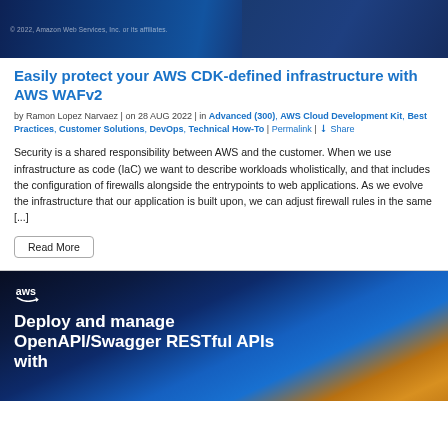[Figure (screenshot): AWS blog header banner with dark blue gradient background]
Easily protect your AWS CDK-defined infrastructure with AWS WAFv2
by Ramon Lopez Narvaez | on 28 AUG 2022 | in Advanced (300), AWS Cloud Development Kit, Best Practices, Customer Solutions, DevOps, Technical How-To | Permalink | Share
Security is a shared responsibility between AWS and the customer. When we use infrastructure as code (IaC) we want to describe workloads wholistically, and that includes the configuration of firewalls alongside the entrypoints to web applications. As we evolve the infrastructure that our application is built upon, we can adjust firewall rules in the same [...]
Read More
[Figure (screenshot): AWS blog lower banner with AWS logo and text 'Deploy and manage OpenAPI/Swagger RESTful APIs with']